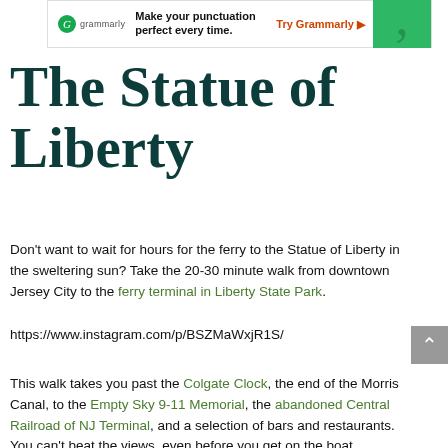[Figure (screenshot): Grammarly advertisement banner: logo with green circle, text 'Make your punctuation perfect every time.', 'Try Grammarly' CTA in orange, green decorative box with large comma]
The Statue of Liberty
Don't want to wait for hours for the ferry to the Statue of Liberty in the sweltering sun? Take the 20-30 minute walk from downtown Jersey City to the ferry terminal in Liberty State Park.
https://www.instagram.com/p/BSZMaWxjR1S/
This walk takes you past the Colgate Clock, the end of the Morris Canal, to the Empty Sky 9-11 Memorial, the abandoned Central Railroad of NJ Terminal, and a selection of bars and restaurants. You can't beat the views, even before you get on the boat.